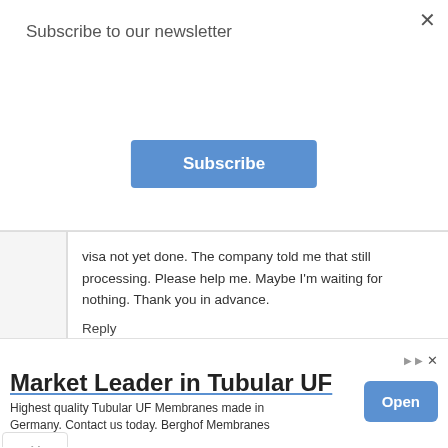Subscribe to our newsletter
Subscribe
visa not yet done. The company told me that still processing. Please help me. Maybe I'm waiting for nothing. Thank you in advance.
Reply
Femina 30 March 2016 at 17:38
How can I check my visa if still processing...
Market Leader in Tubular UF
Highest quality Tubular UF Membranes made in Germany. Contact us today. Berghof Membranes
Open